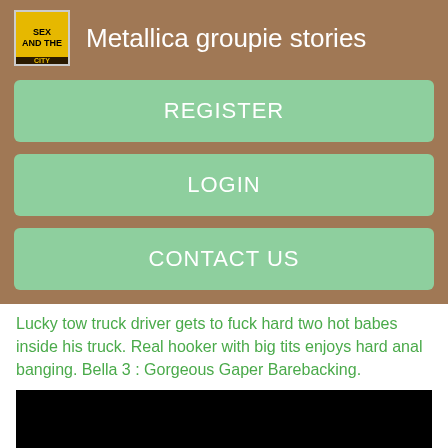Metallica groupie stories
REGISTER
LOGIN
CONTACT US
Lucky tow truck driver gets to fuck hard two hot babes inside his truck. Real hooker with big tits enjoys hard anal banging. Bella 3 : Gorgeous Gaper Barebacking.
[Figure (photo): Black rectangle representing a video player or image placeholder]